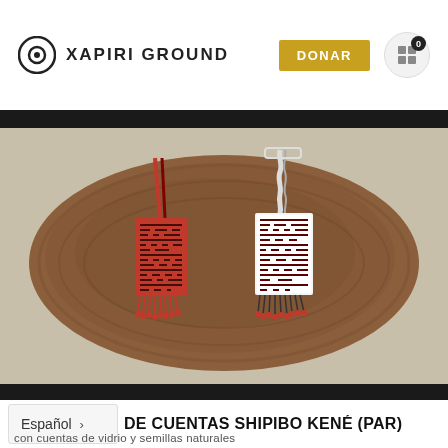XAPIRI GROUND
[Figure (photo): Two beaded Shipibo Kené necklaces/pendants with intricate geometric maze-like patterns placed on a natural wood slab. Left pendant is red and black; right pendant is white, black, and red with fringe beads.]
DE CUENTAS SHIPIBO KENÉ (PAR)
con cuentas de vidrio y semillas naturales